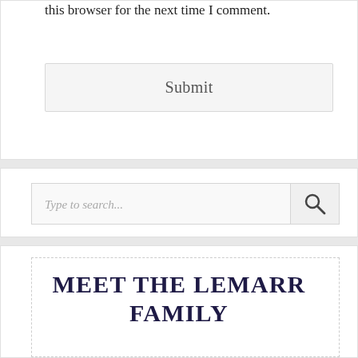this browser for the next time I comment.
Submit
Type to search...
MEET THE LEMARR FAMILY